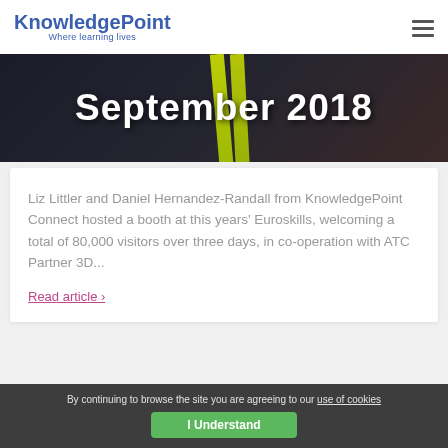KnowledgePoint — Where learning lives
[Figure (photo): Banner image with large white text reading 'September 2018' over a dark background with people and a yellow-green lanyard visible]
Liz Littler and Daniel Hernandez-Randall from KnowledgePoint Connect hosted a booth at this years' Euroskills, welcoming a total of 80,000 visitors over three days, in co-operation with ATC Partner 3D...
Read article ›
By continuing to browse the site you are agreeing to our use of cookies | I Understand